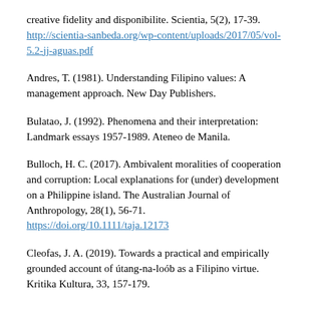creative fidelity and disponibilite. Scientia, 5(2), 17-39. http://scientia-sanbeda.org/wp-content/uploads/2017/05/vol-5.2-jj-aguas.pdf
Andres, T. (1981). Understanding Filipino values: A management approach. New Day Publishers.
Bulatao, J. (1992). Phenomena and their interpretation: Landmark essays 1957-1989. Ateneo de Manila.
Bulloch, H. C. (2017). Ambivalent moralities of cooperation and corruption: Local explanations for (under) development on a Philippine island. The Australian Journal of Anthropology, 28(1), 56-71. https://doi.org/10.1111/taja.12173
Cleofas, J. A. (2019). Towards a practical and empirically grounded account of útang-na-loób as a Filipino virtue. Kritika Kultura, 33, 157-179.